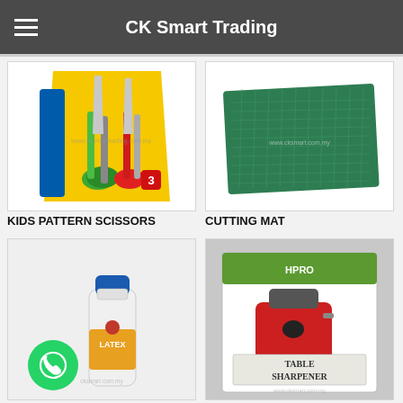CK Smart Trading
[Figure (photo): Kids pattern scissors in colorful packaging (yellow background, green and red scissors)]
KIDS PATTERN SCISSORS
[Figure (photo): Green cutting mat with grid lines]
CUTTING MAT
[Figure (photo): White Latex glue bottle with blue cap and WhatsApp button overlay]
[Figure (photo): Table sharpener in green and white box packaging]